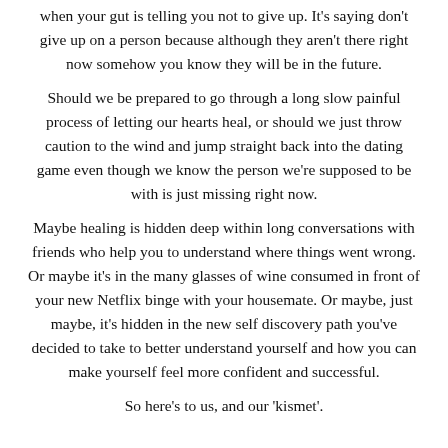when your gut is telling you not to give up. It's saying don't give up on a person because although they aren't there right now somehow you know they will be in the future.
Should we be prepared to go through a long slow painful process of letting our hearts heal, or should we just throw caution to the wind and jump straight back into the dating game even though we know the person we're supposed to be with is just missing right now.
Maybe healing is hidden deep within long conversations with friends who help you to understand where things went wrong. Or maybe it's in the many glasses of wine consumed in front of your new Netflix binge with your housemate. Or maybe, just maybe, it's hidden in the new self discovery path you've decided to take to better understand yourself and how you can make yourself feel more confident and successful.
So here's to us, and our 'kismet'.